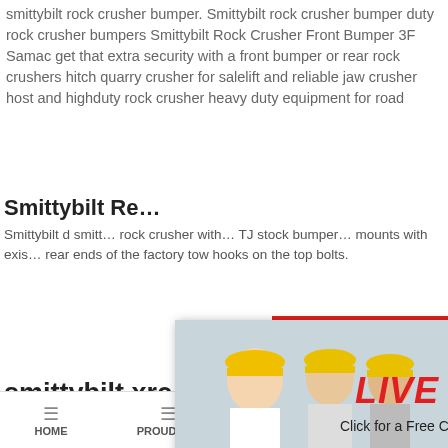smittybilt rock crusher bumper. Smittybilt rock crusher bumper duty rock crusher bumpers Smittybilt Rock Crusher Front Bumper 3F Samac get that extra security with a front bumper or rear rock crushers hitch quarry crusher for salelift and reliable jaw crusher host and highduty rock crusher heavy duty equipment for road
Smittybilt Re...
Smittybilt d smitt... rock crusher with... TJ stock bumper... mounts with exis... rear ends of the factory tow hooks on the top bolts.
[Figure (screenshot): Live chat popup overlay with construction workers wearing yellow hard hats on the left, LIVE CHAT text in red italic, 'Click for a Free Consultation' subtitle, Chat now (red) and Chat later (dark) buttons at bottom]
[Figure (screenshot): Right sidebar with 24Hrs Online red banner, customer service representative photo with headset, 'Need questions & suggestion?' text, orange Chat Now button, Enquiry section, and limingjlmofen red section]
smittybilt xrc rock crusher rear bump...
HOME   PROUDCTS   CASES   limingjlmofen